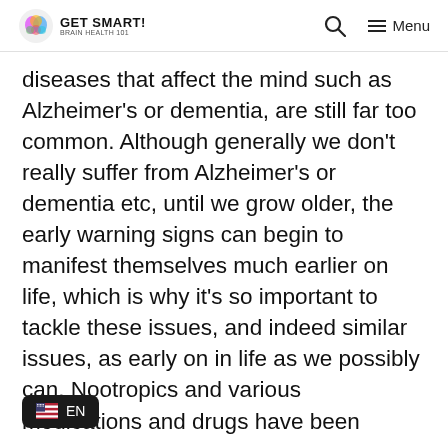GET SMART! [logo] [search icon] Menu
diseases that affect the mind such as Alzheimer's or dementia, are still far too common. Although generally we don't really suffer from Alzheimer's or dementia etc, until we grow older, the early warning signs can begin to manifest themselves much earlier on life, which is why it's so important to tackle these issues, and indeed similar issues, as early on in life as we possibly can. Nootropics and various medications and drugs have been showing amazing promise over the last few years, with Galantamine in particular, generating a great amount of positive feedback over the last few years